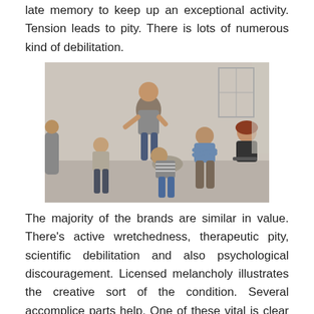late memory to keep up an exceptional activity. Tension leads to pity. There is lots of numerous kind of debilitation.
[Figure (photo): A group therapy session with several people seated in a circle. One person is standing and speaking while others listen, in a well-lit room.]
The majority of the brands are similar in value. There's active wretchedness, therapeutic pity, scientific debilitation and also psychological discouragement. Licensed melancholy illustrates the creative sort of the condition. Several accomplice parts help. One of these vital is clear science, personality scientific research issues. Resentment can in like way be passed along in the characteristics. It is feasible you will in like way if your mama and shocking granny experienced sadness. Unquestionably similar problems can bring forth a